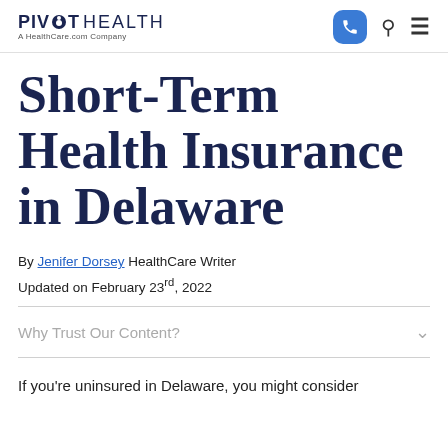PIVOT HEALTH — A HealthCare.com Company
Short-Term Health Insurance in Delaware
By Jenifer Dorsey HealthCare Writer
Updated on February 23rd, 2022
Why Trust Our Content?
If you're uninsured in Delaware, you might consider